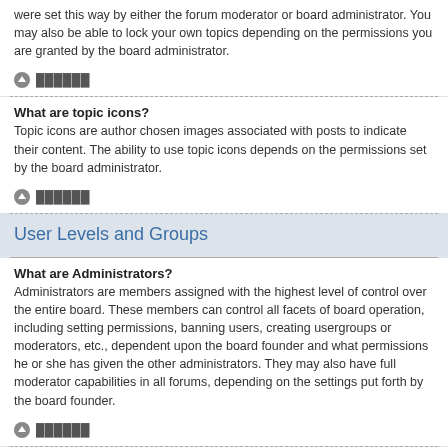were set this way by either the forum moderator or board administrator. You may also be able to lock your own topics depending on the permissions you are granted by the board administrator.
▲ ██████
What are topic icons?
Topic icons are author chosen images associated with posts to indicate their content. The ability to use topic icons depends on the permissions set by the board administrator.
▲ ██████
User Levels and Groups
What are Administrators?
Administrators are members assigned with the highest level of control over the entire board. These members can control all facets of board operation, including setting permissions, banning users, creating usergroups or moderators, etc., dependent upon the board founder and what permissions he or she has given the other administrators. They may also have full moderator capabilities in all forums, depending on the settings put forth by the board founder.
▲ ██████
What are Moderators?